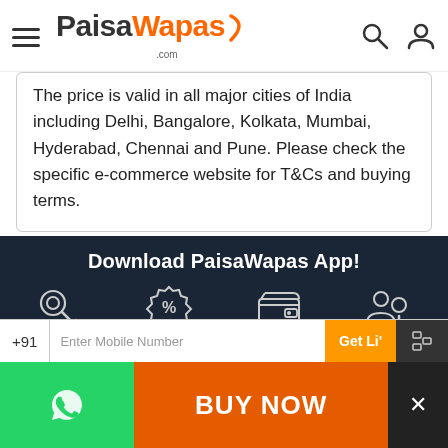[Figure (logo): PaisaWapas.com logo with hamburger menu, search icon and user icon]
The price is valid in all major cities of India including Delhi, Bangalore, Kolkata, Mumbai, Hyderabad, Chennai and Pune. Please check the specific e-commerce website for T&Cs and buying terms.
Download PaisaWapas App!
[Figure (infographic): Four feature icons: Single Access Point for All Online Stores (key icon), Latest & Exclusive Offers & Deals for You (percent badge icon), Fast and Easy Cashback Experience (wallet icon), Refer your friend and Earn Money (people with plus icon)]
[Figure (screenshot): Get it on Google Play button]
+91  Enter Mobile Number  Get Li'
[Figure (infographic): Bottom bar with WhatsApp icon (green), BUY NOW button (orange), and close button (dark)]